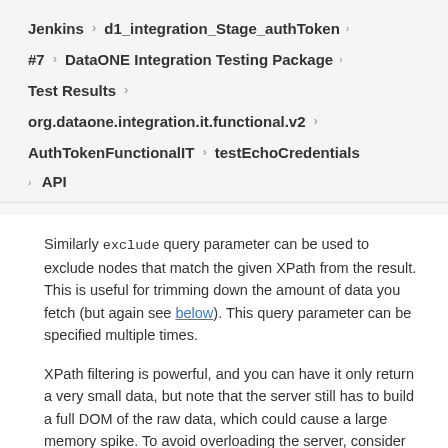Jenkins › d1_integration_Stage_authToken ›
#7 › DataONE Integration Testing Package ›
Test Results ›
org.dataone.integration.it.functional.v2 ›
AuthTokenFunctionalIT › testEchoCredentials
› API
Similarly exclude query parameter can be used to exclude nodes that match the given XPath from the result. This is useful for trimming down the amount of data you fetch (but again see below). This query parameter can be specified multiple times.
XPath filtering is powerful, and you can have it only return a very small data, but note that the server still has to build a full DOM of the raw data, which could cause a large memory spike. To avoid overloading the server, consider using the